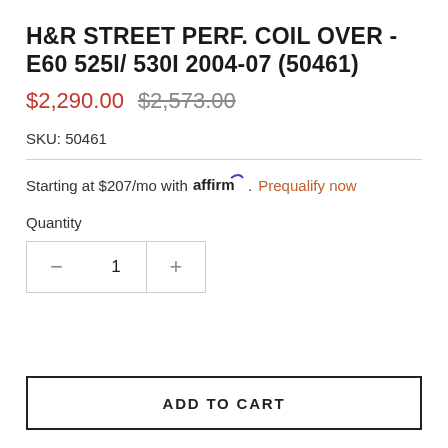H&R STREET PERF. COIL OVER - E60 525I/ 530I 2004-07 (50461)
$2,290.00  $2,573.00
SKU: 50461
Starting at $207/mo with affirm. Prequalify now
Quantity
1
ADD TO CART